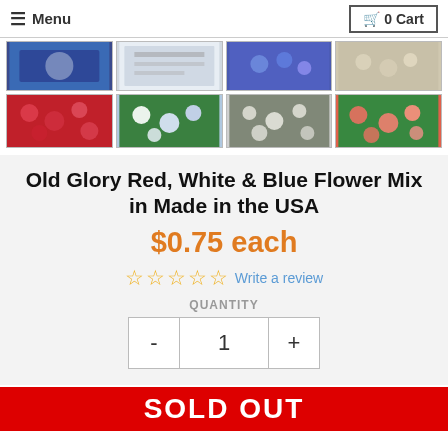≡ Menu   🛒 0 Cart
[Figure (photo): Grid of 8 thumbnail photos of flower varieties including red, blue, white, and mixed flowers]
Old Glory Red, White & Blue Flower Mix in Made in the USA
$0.75 each
☆☆☆☆☆ Write a review
QUANTITY
- 1 +
SOLD OUT